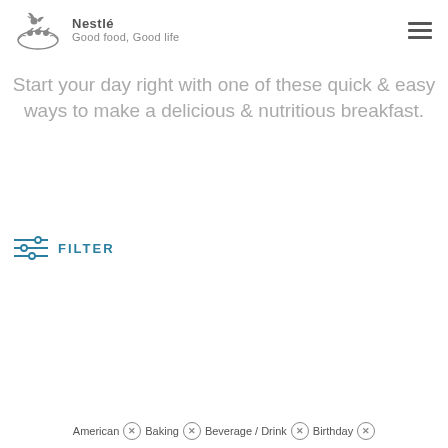Nestlé Good food, Good life
Start your day right with one of these quick & easy ways to make a delicious & nutritious breakfast.
FILTER
American ✕ Baking ✕ Beverage / Drink ✕ Birthday ✕